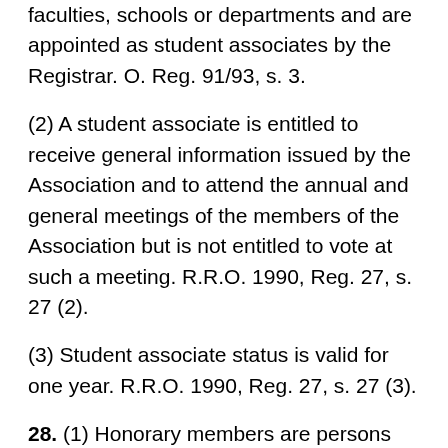faculties, schools or departments and are appointed as student associates by the Registrar. O. Reg. 91/93, s. 3.
(2) A student associate is entitled to receive general information issued by the Association and to attend the annual and general meetings of the members of the Association but is not entitled to vote at such a meeting. R.R.O. 1990, Reg. 27, s. 27 (2).
(3) Student associate status is valid for one year. R.R.O. 1990, Reg. 27, s. 27 (3).
28. (1) Honorary members are persons who have rendered to the architectural profession signal or valuable service or who have scrupulously upheld